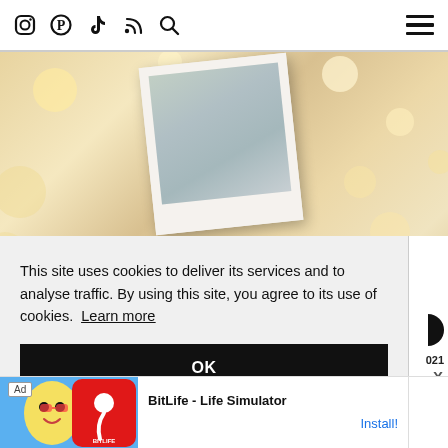Social media icons (Instagram, Pinterest, TikTok, RSS, Search) and hamburger menu
[Figure (photo): A hand holding a polaroid photograph in front of a bokeh Christmas background with warm golden tones and blurred lights.]
This site uses cookies to deliver its services and to analyse traffic. By using this site, you agree to its use of cookies.  Learn more
OK
021
X
[Figure (screenshot): Advertisement banner for BitLife - Life Simulator app, showing cartoon character and red BITLIFE logo.]
BitLife - Life Simulator
Install!